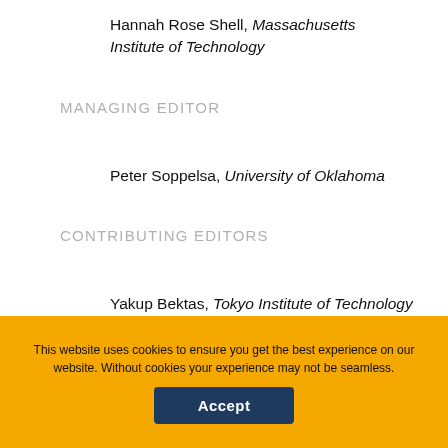Hannah Rose Shell, Massachusetts Institute of Technology
MANAGING EDITOR
Peter Soppelsa, University of Oklahoma
CONTRIBUTING EDITORS
Yakup Bektas, Tokyo Institute of Technology
Chandra Bhimull, Colby College
Francesca Bray, University of Edinburgh
This website uses cookies to ensure you get the best experience on our website. Without cookies your experience may not be seamless.
Accept